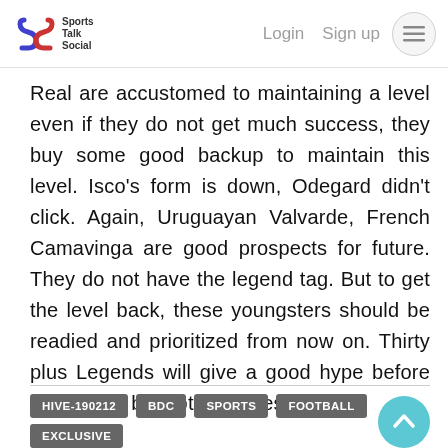Sports Talk Social  Login  Sign up
Real are accustomed to maintaining a level even if they do not get much success, they buy some good backup to maintain this level. Isco's form is down, Odegard didn't click. Again, Uruguayan Valvarde, French Camavinga are good prospects for future. They do not have the legend tag. But to get the level back, these youngsters should be readied and prioritized from now on. Thirty plus Legends will give a good hype before the match, but not in the result.
HIVE-190212
BDC
SPORTS
FOOTBALL
EXCLUSIVE